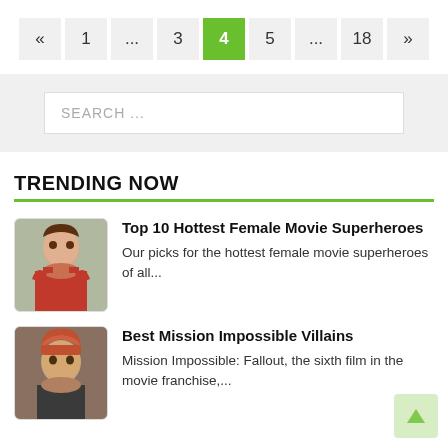Pagination: « 1 ... 3 4 5 ... 18 »
SEARCH ...
TRENDING NOW
[Figure (photo): Woman with red dress, female superhero article thumbnail]
Top 10 Hottest Female Movie Superheroes
Our picks for the hottest female movie superheroes of all...
[Figure (photo): Man with reddish hair, Mission Impossible article thumbnail]
Best Mission Impossible Villains
Mission Impossible: Fallout, the sixth film in the movie franchise,...